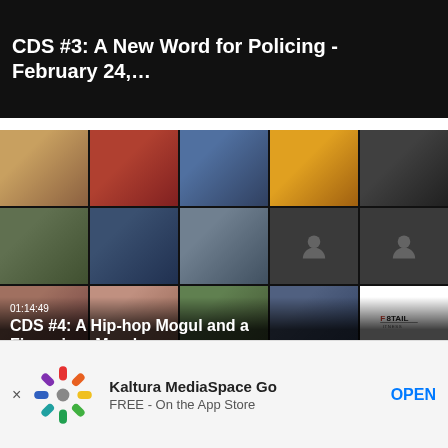CDS #3: A New Word for Policing - February 24,...
[Figure (screenshot): Zoom-style video grid showing multiple participants in a virtual meeting. Overlay text shows duration 01:14:49 and title CDS #4: A Hip-hop Mogul and a Financier - March...]
01:14:49
CDS #4: A Hip-hop Mogul and a Financier - March...
× Kaltura MediaSpace Go FREE - On the App Store OPEN